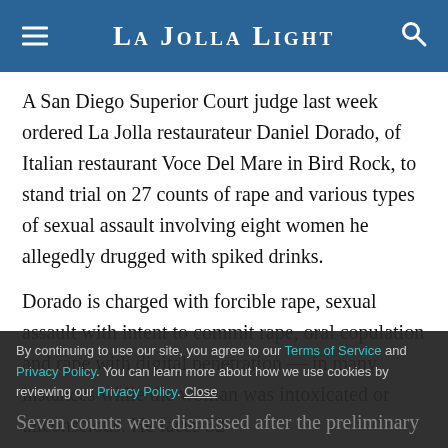La Jolla Light
A San Diego Superior Court judge last week ordered La Jolla restaurateur Daniel Dorado, of Italian restaurant Voce Del Mare in Bird Rock, to stand trial on 27 counts of rape and various types of sexual assault involving eight women he allegedly drugged with spiked drinks.
Dorado is charged with forcible rape, sexual assault with intent to commit rape, oral copulation and rape with digital penetration — in many instances while the woman was intoxicated or unconscious. He faces 32
Seven counts were dismissed after the preliminary
By continuing to use our site, you agree to our Terms of Service and Privacy Policy. You can learn more about how we use cookies by reviewing our Privacy Policy. Close